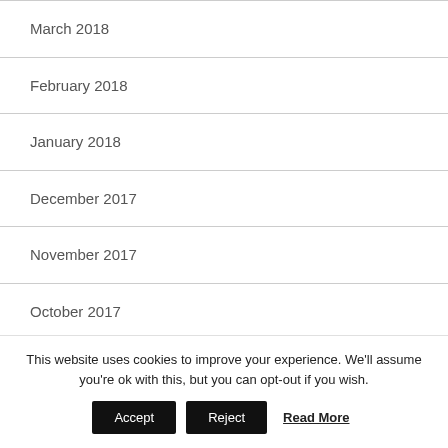March 2018
February 2018
January 2018
December 2017
November 2017
October 2017
This website uses cookies to improve your experience. We'll assume you're ok with this, but you can opt-out if you wish.
Accept  Reject  Read More